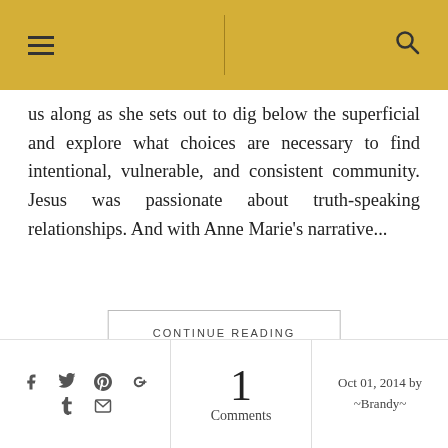us along as she sets out to dig below the superficial and explore what choices are necessary to find intentional, vulnerable, and consistent community. Jesus was passionate about truth-speaking relationships. And with Anne Marie's narrative...
CONTINUE READING
1 Comments
Oct 01, 2014 by ~Brandy~